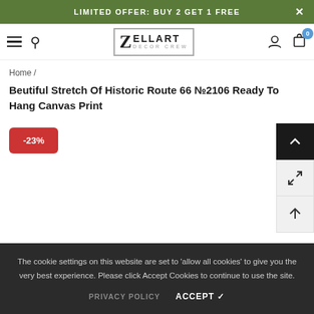LIMITED OFFER: BUY 2 GET 1 FREE
[Figure (logo): Zellart Decor Crew logo with Z in a box and navigation icons (hamburger, search, user, cart with badge 0)]
Home /
Beutiful Stretch Of Historic Route 66 №2106 Ready To Hang Canvas Print
-23%
The cookie settings on this website are set to 'allow all cookies' to give you the very best experience. Please click Accept Cookies to continue to use the site.
PRIVACY POLICY   ACCEPT ✓